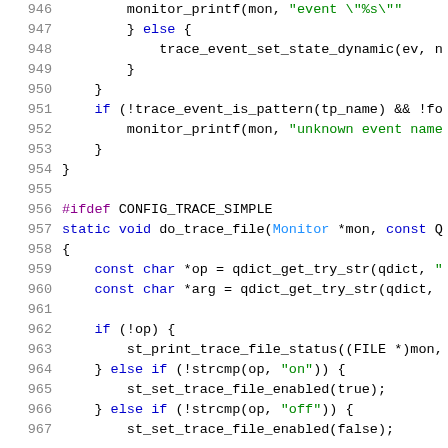[Figure (screenshot): Source code screenshot showing C code lines 946-967 with syntax highlighting. Line numbers in gray on left, keywords in blue, string literals in green, type names in cyan/blue, preprocessor directives in purple.]